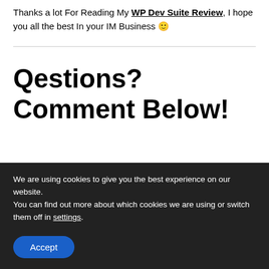Thanks a lot For Reading My WP Dev Suite Review, I hope you all the best In your IM Business 🙂
Qestions? Comment Below!
We are using cookies to give you the best experience on our website.
You can find out more about which cookies we are using or switch them off in settings.
Accept